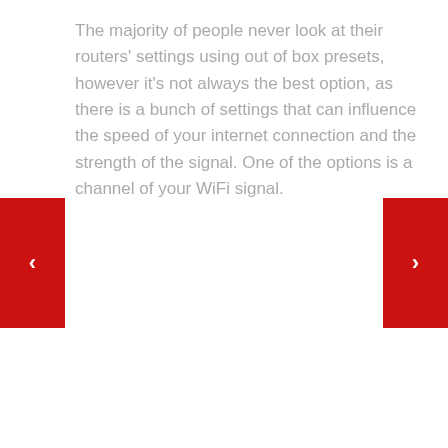The majority of people never look at their routers' settings using out of box presets, however it's not always the best option, as there is a bunch of settings that can influence the speed of your internet connection and the strength of the signal. One of the options is a channel of your WiFi signal.